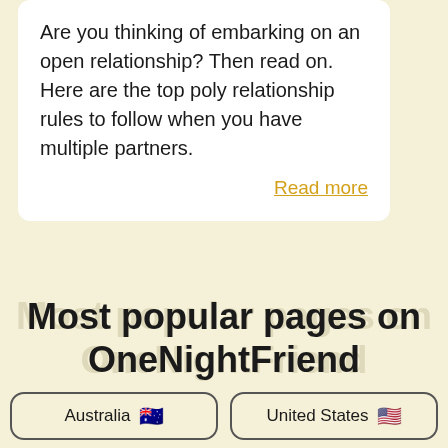Are you thinking of embarking on an open relationship? Then read on. Here are the top poly relationship rules to follow when you have multiple partners.
Read more
Most popular pages on OneNightFriend
Australia 🇦🇺
United States 🇺🇸